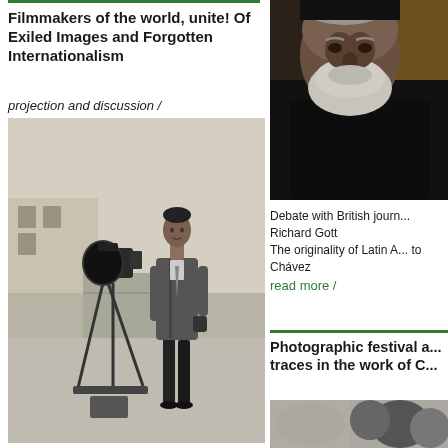Filmmakers of the world, unite! Of Exiled Images and Forgotten Internationalism
projection and discussion /
[Figure (photo): Black and white photograph of a man in a suit standing next to a film camera on a tripod outdoors]
[Figure (photo): Close-up photo of an elderly bearded man in dark clothing]
Debate with British journalist Richard Gott
The originality of Latin A... to Chávez
read more /
Photographic festival a... traces in the work of C...
[Figure (photo): Partially visible photograph at bottom right showing blurred figures]